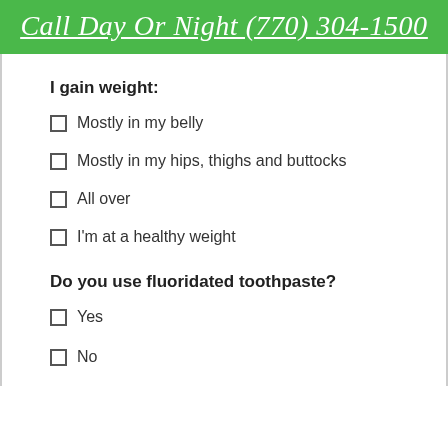Call Day Or Night (770) 304-1500
I gain weight:
Mostly in my belly
Mostly in my hips, thighs and buttocks
All over
I'm at a healthy weight
Do you use fluoridated toothpaste?
Yes
No